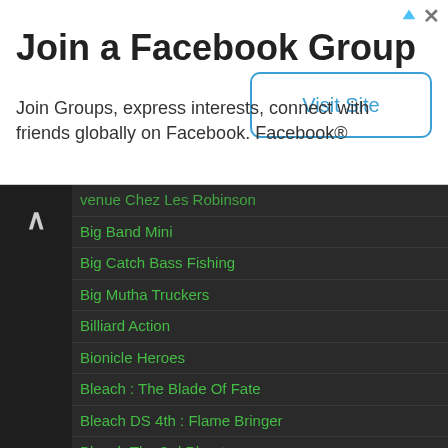[Figure (infographic): Facebook Group advertisement banner with title 'Join a Facebook Group', body text, and Visit Site button]
...chez Les Robinson (partial)
Big Band Mini
Big Catch Bass Fishing
Big Mutha Truckers
Billiard Action
Bionicle Heroes
Bleach : The Blade Of Fate
Bleach DS 4th : Flame Bringer
Bleach The 3rd Phantom
Bleach: Dark Souls
Blood Bowl
Blood Stone 007
Blue Dragon : Awakened Shadow
Blue Dragon Plus
Bob le Bricoleur : On s'Amuse comme des Fous
Bob L'Eponge : Bulle en Atlantide